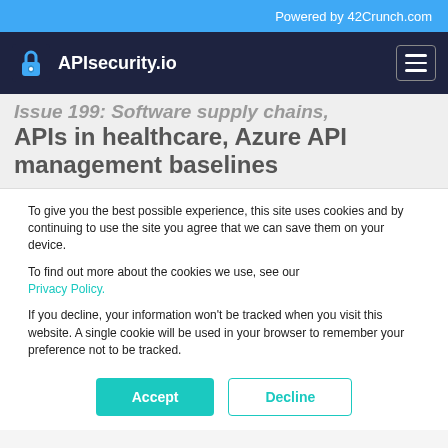Powered by 42Crunch.com
[Figure (logo): APIsecurity.io logo with lock icon on dark navy navigation bar with hamburger menu]
Issue 199: Software supply chains, APIs in healthcare, Azure API management baselines
To give you the best possible experience, this site uses cookies and by continuing to use the site you agree that we can save them on your device.
To find out more about the cookies we use, see our Privacy Policy.
If you decline, your information won't be tracked when you visit this website. A single cookie will be used in your browser to remember your preference not to be tracked.